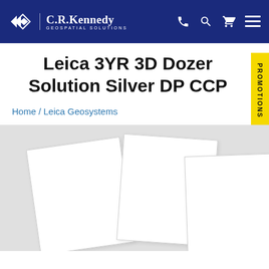C.R.Kennedy GEOSPATIAL SOLUTIONS
Leica 3YR 3D Dozer Solution Silver DP CCP
Home / Leica Geosystems
[Figure (photo): Product image area showing overlapping document/brochure placeholders on light grey background]